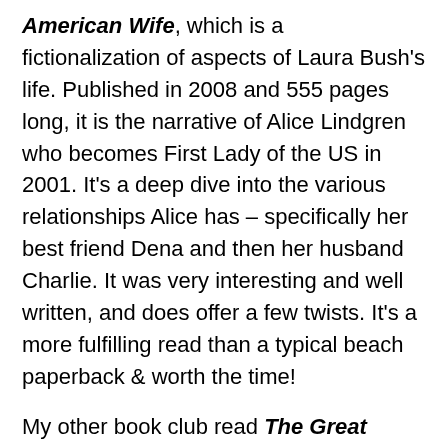American Wife, which is a fictionalization of aspects of Laura Bush's life. Published in 2008 and 555 pages long, it is the narrative of Alice Lindgren who becomes First Lady of the US in 2001. It's a deep dive into the various relationships Alice has – specifically her best friend Dena and then her husband Charlie. It was very interesting and well written, and does offer a few twists. It's a more fulfilling read than a typical beach paperback & worth the time!
My other book club read The Great Believers by Rebecca Makkai (published 2018, 421 pages). Set in both 1980's Chicago and present day Paris, it chronicles the impact that the AIDS crisis had on a group of friends, and it's reverberations a generation later. Very well written and beautiful. Recommend!